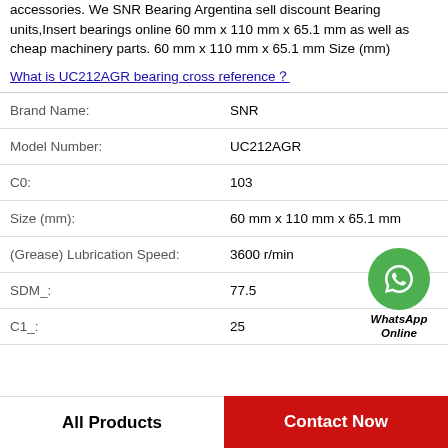accessories. We SNR Bearing Argentina sell discount Bearing units,Insert bearings online 60 mm x 110 mm x 65.1 mm as well as cheap machinery parts. 60 mm x 110 mm x 65.1 mm Size (mm)
What is UC212AGR bearing cross reference？
| Property | Value |
| --- | --- |
| Brand Name: | SNR |
| Model Number: | UC212AGR |
| C0: | 103 |
| Size (mm): | 60 mm x 110 mm x 65.1 mm |
| (Grease) Lubrication Speed: | 3600 r/min |
| SDM_: | 77.5 |
| C1_: | 25 |
[Figure (illustration): WhatsApp Online contact badge with green phone icon circle and italic bold text 'WhatsApp Online']
All Products
Contact Now